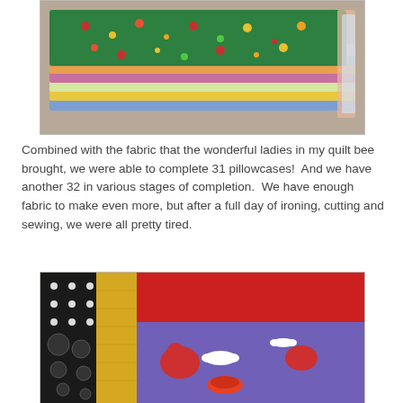[Figure (photo): Stack of colorful patterned fabric pieces piled on top of each other, with a green floral/leaf print on top, showing various children's character prints and bright colors underneath.]
Combined with the fabric that the wonderful ladies in my quilt bee brought, we were able to complete 31 pillowcases!  And we have another 32 in various stages of completion.  We have enough fabric to make even more, but after a full day of ironing, cutting and sewing, we were all pretty tired.
[Figure (photo): Colorful pillowcases laid flat on a surface, showing fabrics with a cartoon dog/bone print on purple background, red solid fabric, yellow solid fabric, and black fabric with white dot patterns.]